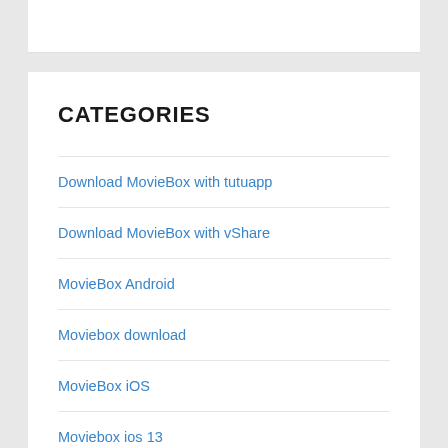CATEGORIES
Download MovieBox with tutuapp
Download MovieBox with vShare
MovieBox Android
Moviebox download
MovieBox iOS
Moviebox ios 13
moviebox iphone
moviebox pro apk